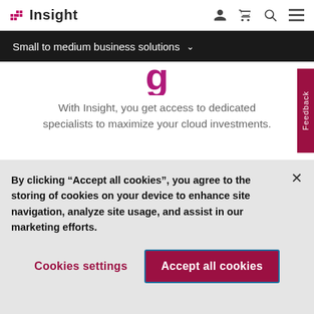Insight
Small to medium business solutions
With Insight, you get access to dedicated specialists to maximize your cloud investments.
By clicking “Accept all cookies”, you agree to the storing of cookies on your device to enhance site navigation, analyze site usage, and assist in our marketing efforts.
Cookies settings
Accept all cookies